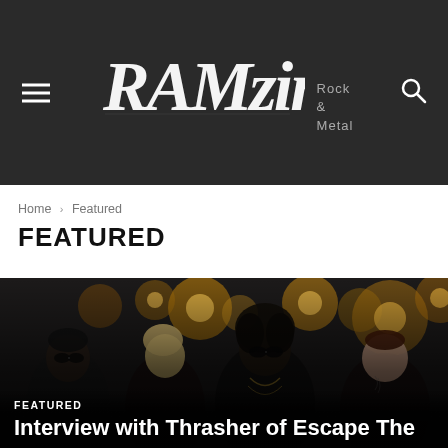[Figure (logo): RAMzine Rock & Metal magazine logo in white handwritten/script style on dark background with hamburger menu icon on left and search icon on right]
Home › Featured
FEATURED
[Figure (photo): Four rock band members posing in front of glowing warm lights, wearing edgy fashion including sunglasses, tattoos, and patterned clothing. Dark moody atmosphere.]
FEATURED
Interview with Thrasher of Escape The